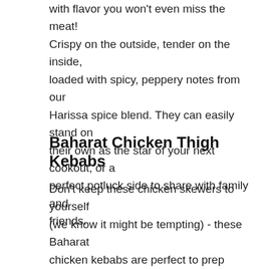with flavor you won't even miss the meat! Crispy on the outside, tender on the inside, loaded with spicy, peppery notes from our Harissa spice blend. They can easily stand on their own as the star of your next cookout, or a perfect potluck side to share with family and friends.
Baharat Chicken Thigh Kebabs
Don't keep these chicken skewers to yourself (we know it might be tempting) - these Baharat chicken kebabs are perfect to prep ahead and grill up for a crowd.  So simple to make and loaded with so much flavor. Serve them up with grilled pita, fresh veggies, and your favorite Middle Eastern dips for a build-your-own pita